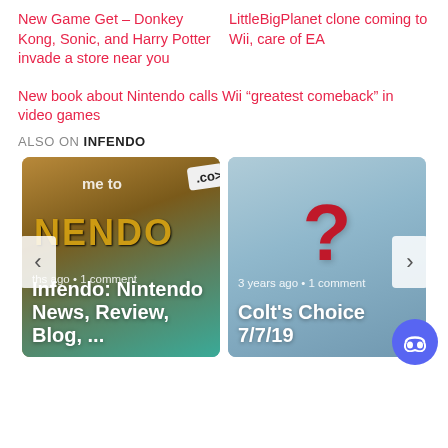New Game Get – Donkey Kong, Sonic, and Harry Potter invade a store near you
LittleBigPlanet clone coming to Wii, care of EA
New book about Nintendo calls Wii “greatest comeback” in video games
ALSO ON INFENDO
[Figure (screenshot): Card showing Infendo Nintendo News, Review, Blog with a wooden sign image, meta: months ago • 1 comment]
[Figure (screenshot): Card showing Colt's Choice 7/7/19 with a question mark image, meta: 3 years ago • 1 comment]